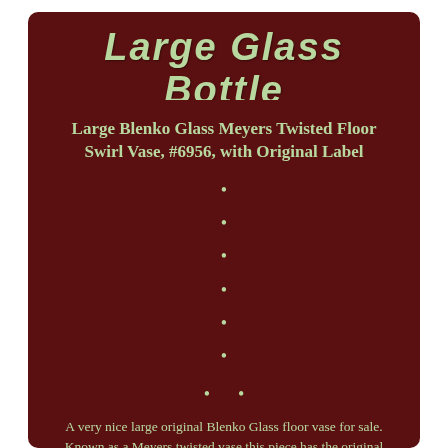Large Glass Bottle
Large Blenko Glass Meyers Twisted Floor Swirl Vase, #6956, with Original Label
A very nice large original Blenko Glass floor vase for sale. Known as a Meyers twisted vase this piece has the original Blenko Glass sticker/label still intact.
Thank you for your interest. The item "Large Blenko Glass Meyers Twisted Floor Swirl Vase, #6956, with Original Label" is in sale since Thursday, January 9, 2020. This item is in the category "Pottery & Glass\Glass\Art Glass\North